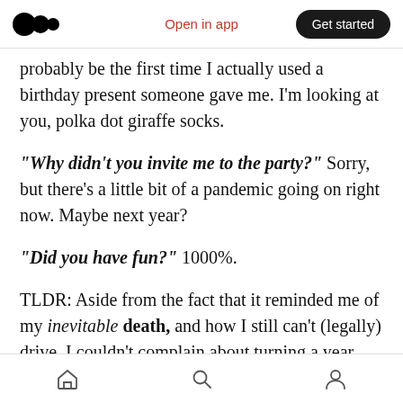Open in app | Get started
probably be the first time I actually used a birthday present someone gave me. I'm looking at you, polka dot giraffe socks.
“Why didn’t you invite me to the party?” Sorry, but there’s a little bit of a pandemic going on right now. Maybe next year?
“Did you have fun?” 1000%.
TLDR: Aside from the fact that it reminded me of my inevitable death, and how I still can’t (legally) drive, I couldn’t complain about turning a year older.
Home | Search | Profile